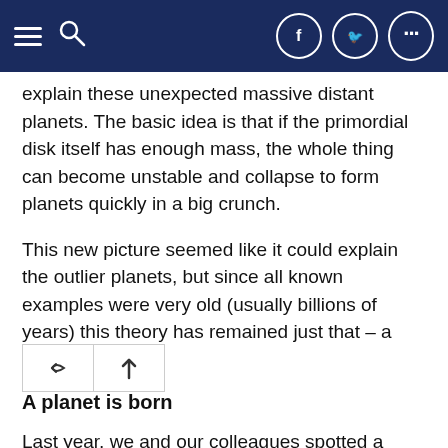Navigation header with hamburger menu, search icon, Facebook, Twitter, and more options buttons
explain these unexpected massive distant planets. The basic idea is that if the primordial disk itself has enough mass, the whole thing can become unstable and collapse to form planets quickly in a big crunch.
This new picture seemed like it could explain the outlier planets, but since all known examples were very old (usually billions of years) this theory has remained just that – a theory. Until now.
A planet is born
Last year, we and our colleagues spotted a massive planet, still in the process of formation, around a star some 500 light-years from Earth.
This star, named AB Aurigae, has become famous in